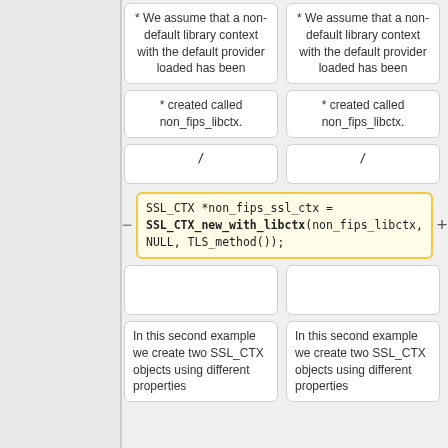/*
/*
* We assume that a non-default library context with the default provider loaded has been
* We assume that a non-default library context with the default provider loaded has been
* created called non_fips_libctx.
* created called non_fips_libctx.
/
/
SSL_CTX *non_fips_ssl_ctx = SSL_CTX_new_with_libctx(non_fips_libctx, NULL, TLS_method());
SSL_CTX *non_fips_ssl_ctx = SSL_CTX_new_ex(non_fips_libctx, NULL, TLS_method());
(empty box)
(empty box)
In this second example we create two SSL_CTX objects using different properties
In this second example we create two SSL_CTX objects using different properties